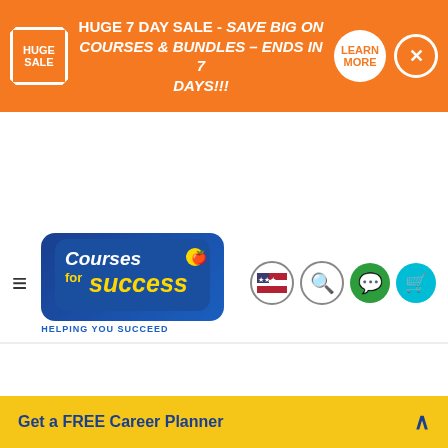[Figure (screenshot): Orange sale banner: HUGE 7 DAY SALE - SAVE BIG ON COURSES & BUNDLES – ENDS IN 7 DAYS!!! with Learn More button and close button]
[Figure (logo): Courses for Success logo with hamburger menu, flag, search, chat and cart icons]
or 4 interest-free payments of US$37.25 with 🌈 sezzle ℹ
[Figure (infographic): Payment method icons: Amazon, PayPal, Apple Pay, Google Pay, Mastercard, Amex, Visa, Sezzle]
[Figure (screenshot): Add to Cart green button with shopping cart icon]
[Figure (screenshot): Get Info Pack orange/yellow button with box icon]
Get a FREE Career Planner